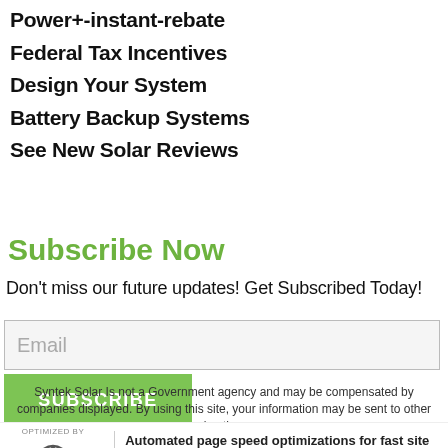Power+-instant-rebate
Federal Tax Incentives
Design Your System
Battery Backup Systems
See New Solar Reviews
Subscribe Now
Don't miss our future updates! Get Subscribed Today!
Email
SUBSCRIBE
Syntek Solar Is not a Government agency and may be compensated by companies displayed. By using this site, your information may be sent to other advertisers.
Automated page speed optimizations for fast site performance